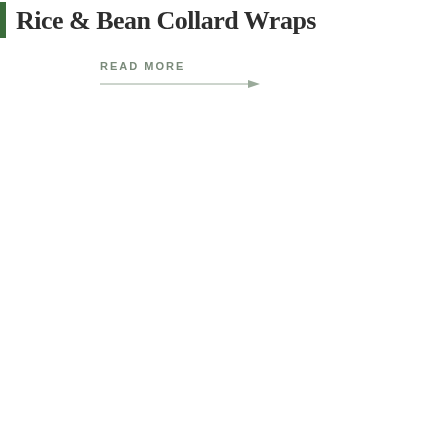Rice & Bean Collard Wraps
READ MORE